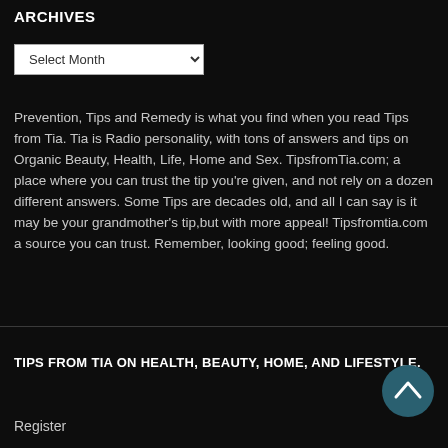ARCHIVES
Select Month
Prevention, Tips and Remedy is what you find when you read Tips from Tia. Tia is Radio personality, with tons of answers and tips on Organic Beauty, Health, Life, Home and Sex. TipsfromTia.com; a place where you can trust the tip you're given, and not rely on a dozen different answers. Some Tips are decades old, and all I can say is it may be your grandmother's tip,but with more appeal! Tipsfromtia.com a source you can trust. Remember, looking good; feeling good.
TIPS FROM TIA ON HEALTH, BEAUTY, HOME, AND LIFESTYLE.
Register